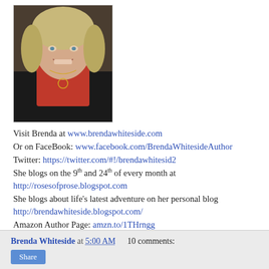[Figure (photo): Headshot photo of Brenda Whiteside, a woman with short blonde hair wearing a red turtleneck and black jacket with a gold necklace]
Visit Brenda at www.brendawhiteside.com
Or on FaceBook: www.facebook.com/BrendaWhitesideAuthor
Twitter: https://twitter.com/#!/brendawhitesid2
She blogs on the 9th and 24th of every month at http://rosesofprose.blogspot.com
She blogs about life's latest adventure on her personal blog http://brendawhiteside.blogspot.com/
Amazon Author Page: amzn.to/1THrngg
Goodreads Author Page: bit.ly/1U1lDxo
Brenda Whiteside at 5:00 AM   10 comments: